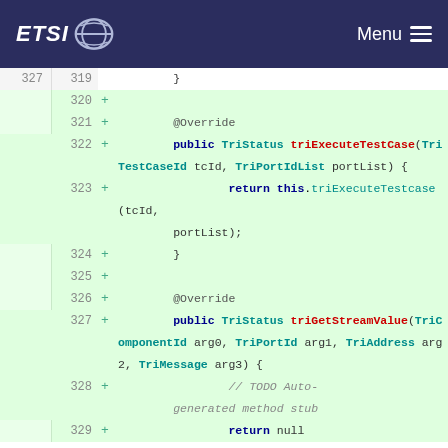ETSI — Menu
[Figure (screenshot): Code diff view showing Java source code with line numbers. Lines 327/319 (normal) show closing brace. Lines 320-328 (added, green background) show @Override public TriStatus triExecuteTestCase and triGetStreamValue method stubs with return statements and TODO comments.]